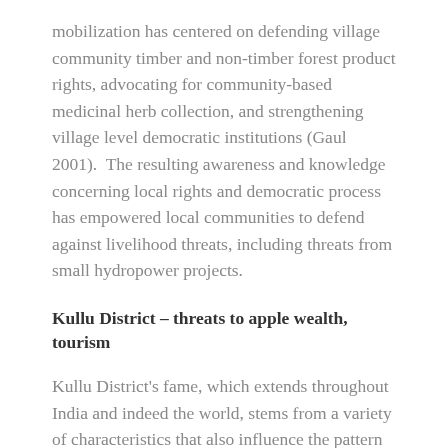mobilization has centered on defending village community timber and non-timber forest product rights, advocating for community-based medicinal herb collection, and strengthening village level democratic institutions (Gaul 2001).  The resulting awareness and knowledge concerning local rights and democratic process has empowered local communities to defend against livelihood threats, including threats from small hydropower projects.
Kullu District – threats to apple wealth, tourism
Kullu District's fame, which extends throughout India and indeed the world, stems from a variety of characteristics that also influence the pattern of socio-economic and environmental consequences of small hydropower development.  The district, located to the east of Districts Kangra and Chamba, tends to be